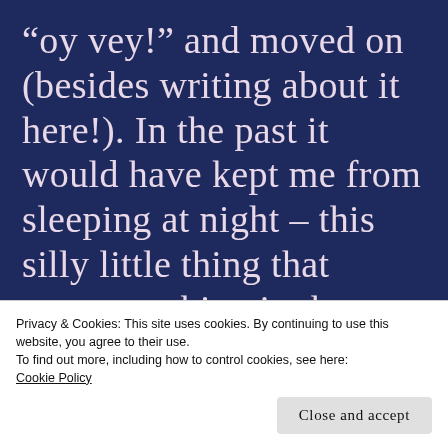“oy vey!” and moved on (besides writing about it here!). In the past it would have kept me from sleeping at night – this silly little thing that means nothing in the scheme of life. But tonight, I will not
Privacy & Cookies: This site uses cookies. By continuing to use this website, you agree to their use.
To find out more, including how to control cookies, see here:
Cookie Policy